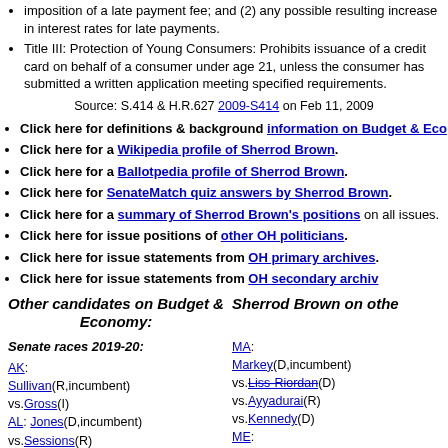imposition of a late payment fee; and (2) any possible resulting increase in interest rates for late payments.
Title III: Protection of Young Consumers: Prohibits issuance of a credit card on behalf of a consumer under age 21, unless the consumer has submitted a written application meeting specified requirements.
Source: S.414 & H.R.627 2009-S414 on Feb 11, 2009
Click here for definitions & background information on Budget & Economy
Click here for a Wikipedia profile of Sherrod Brown.
Click here for a Ballotpedia profile of Sherrod Brown.
Click here for SenateMatch quiz answers by Sherrod Brown.
Click here for a summary of Sherrod Brown's positions on all issues.
Click here for issue positions of other OH politicians.
Click here for issue statements from OH primary archives.
Click here for issue statements from OH secondary archives
Other candidates on Budget & Economy:
Sherrod Brown on other
Senate races 2019-20: AK: Sullivan(R,incumbent) vs.Gross(I) AL: Jones(D,incumbent) vs.Sessions(R) vs.Moore(R) vs.Mooney(R) vs.Rogers(D) vs.Tuberville(R)
MA: Markey(D,incumbent) vs.Liss-Riordan(D) vs.Ayyadurai(R) vs.Kennedy(D) ME: Collins(R,incumbent) vs.Sweet(D) vs.Gideon(D)